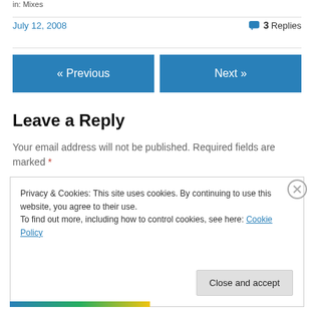in: Mixes
July 12, 2008
3 Replies
« Previous
Next »
Leave a Reply
Your email address will not be published. Required fields are marked *
Privacy & Cookies: This site uses cookies. By continuing to use this website, you agree to their use.
To find out more, including how to control cookies, see here: Cookie Policy
Close and accept